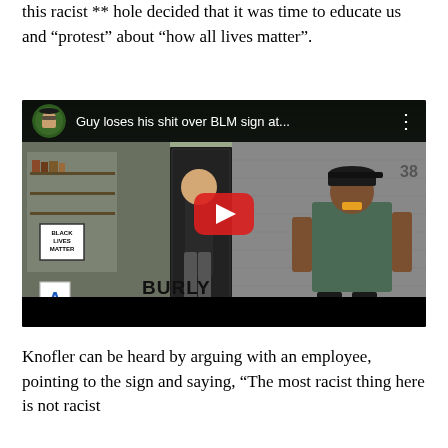this racist ** hole decided that it was time to educate us and “protest” about “how all lives matter”.
[Figure (screenshot): YouTube video thumbnail showing a video titled 'Guy loses his shit over BLM sign at...' depicting two men outside Burly Coffee shop, one employee in black and one man in a green tank top and black cap, with a Black Lives Matter sign visible in the window. A large red YouTube play button is centered on the video.]
Knofler can be heard by arguing with an employee, pointing to the sign and saying, “The most racist thing here is not racist